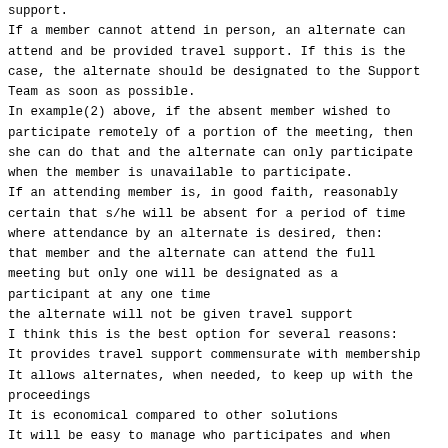If a member cannot attend in person, an alternate can attend and be provided travel support. If this is the case, the alternate should be designated to the Support Team as soon as possible.
In example(2) above, if the absent member wished to participate remotely of a portion of the meeting, then she can do that and the alternate can only participate when the member is unavailable to participate.
If an attending member is, in good faith, reasonably certain that s/he will be absent for a period of time where attendance by an alternate is desired, then:
that member and the alternate can attend the full meeting but only one will be designated as a participant at any one time
the alternate will not be given travel support
I think this is the best option for several reasons:
It provides travel support commensurate with membership
It allows alternates, when needed, to keep up with the proceedings
It is economical compared to other solutions
It will be easy to manage who participates and when
Will not materially impact the meeting room size or planning by the ICANN Meetings Team
Thinking of other options:
If alternate participation is curtailed beyond this, team effectiveness might be hobbled.
If alternative participation is expanded beyond this, meeting costs might escalate and logistics would become complicated.